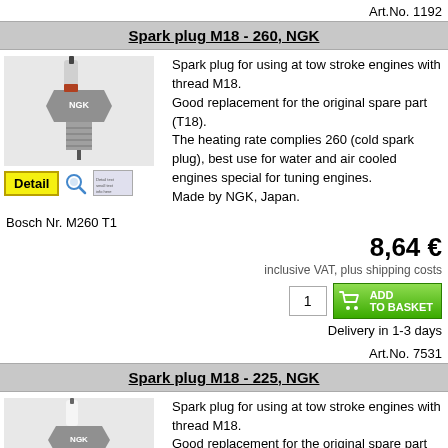Art.No. 1192
Spark plug M18 - 260, NGK
[Figure (photo): Photo of a spark plug M18-260 NGK with a Detail button below it]
Spark plug for using at tow stroke engines with thread M18. Good replacement for the original spare part (T18). The heating rate complies 260 (cold spark plug), best use for water and air cooled engines special for tuning engines. Made by NGK, Japan.
Bosch Nr. M260 T1
8,64 €
inclusive VAT, plus shipping costs
[Figure (screenshot): Quantity box with value 1 and green ADD TO BASKET button with cart icon]
Delivery in 1-3 days
Art.No. 7531
Spark plug M18 - 225, NGK
[Figure (photo): Photo of a spark plug M18-225 NGK]
Spark plug for using at tow stroke engines with thread M18. Good replacement for the original spare part (T18). The heating rate complies 225 (cold spark plug), best use for water and air cooled